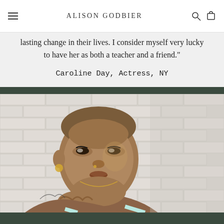ALISON GODBIER
lasting change in their lives. I consider myself very lucky to have her as both a teacher and a friend."
Caroline Day, Actress, NY
[Figure (photo): Portrait photo of a woman with a shaved head, wearing a light blue top and gold jewelry, posed against a white brick wall with hand resting under chin, tattoos visible on shoulder.]